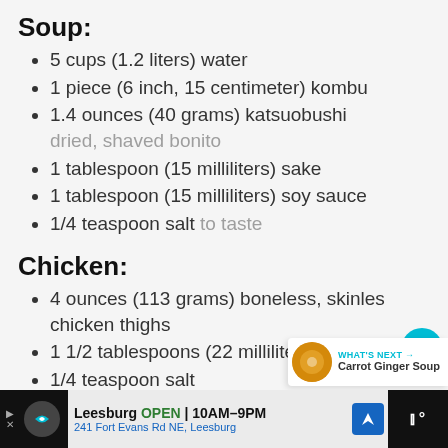Soup:
5 cups (1.2 liters) water
1 piece (6 inch, 15 centimeter) kombu
1.4 ounces (40 grams) katsuobushi dried, shaved bonito
1 tablespoon (15 milliliters) sake
1 tablespoon (15 milliliters) soy sauce
1/4 teaspoon salt to taste
Chicken:
4 ounces (113 grams) boneless, skinless chicken thighs
1 1/2 tablespoons (22 milliliters)
1/4 teaspoon salt